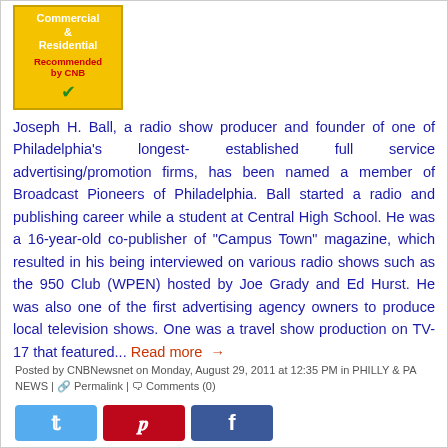[Figure (logo): Yellow box with 'Commercial & Residential Recommended by CNB' logo with green checkmark]
Joseph H. Ball, a radio show producer and founder of one of Philadelphia's longest- established full service advertising/promotion firms, has been named a member of Broadcast Pioneers of Philadelphia. Ball started a radio and publishing career while a student at Central High School. He was a 16-year-old co-publisher of "Campus Town" magazine, which resulted in his being interviewed on various radio shows such as the 950 Club (WPEN) hosted by Joe Grady and Ed Hurst. He was also one of the first advertising agency owners to produce local television shows. One was a travel show production on TV-17 that featured... Read more →
Posted by CNBNewsnet on Monday, August 29, 2011 at 12:35 PM in PHILLY & PA NEWS | Permalink | Comments (0)
[Figure (other): Social share buttons: Twitter (blue), Pinterest (red), Facebook (blue)]